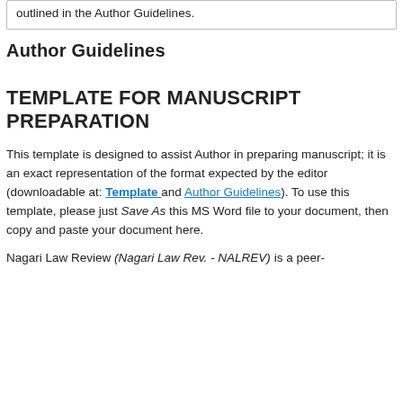outlined in the Author Guidelines.
Author Guidelines
TEMPLATE FOR MANUSCRIPT PREPARATION
This template is designed to assist Author in preparing manuscript; it is an exact representation of the format expected by the editor (downloadable at: Template and Author Guidelines). To use this template, please just Save As this MS Word file to your document, then copy and paste your document here.
Nagari Law Review (Nagari Law Rev. - NALREV) is a peer-